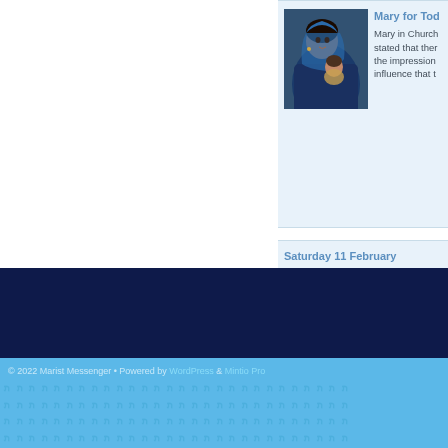[Figure (illustration): Religious painting of Madonna (Mary) with child, in blue tones]
Mary for Tod
Mary in Church stated that the impression influence that t
Saturday 11 February
Our Lady of Lourdes (Feast) Is young lady appeared to a poor identified herself as 'the Immac stain of sin through the [...]
© 2022 Marist Messenger • Powered by WordPress & Mintio Pro